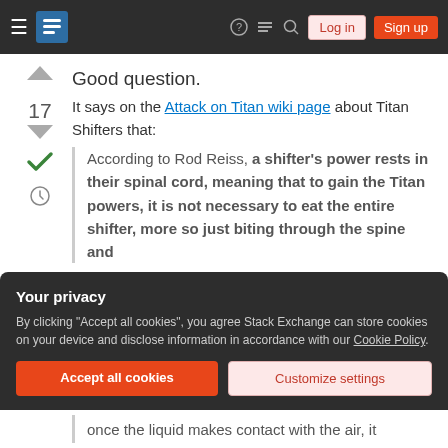Stack Exchange navigation header with logo, Log in, and Sign up buttons
Good question.
17 — It says on the Attack on Titan wiki page about Titan Shifters that:
According to Rod Reiss, a shifter's power rests in their spinal cord, meaning that to gain the Titan powers, it is not necessary to eat the entire shifter, more so just biting through the spine and
Your privacy
By clicking "Accept all cookies", you agree Stack Exchange can store cookies on your device and disclose information in accordance with our Cookie Policy.
Accept all cookies
Customize settings
once the liquid makes contact with the air, it